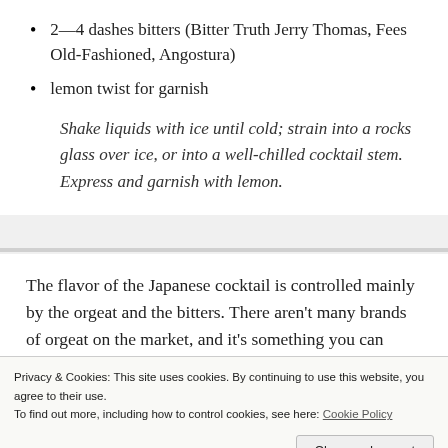2—4 dashes bitters (Bitter Truth Jerry Thomas, Fees Old-Fashioned, Angostura)
lemon twist for garnish
Shake liquids with ice until cold; strain into a rocks glass over ice, or into a well-chilled cocktail stem. Express and garnish with lemon.
The flavor of the Japanese cocktail is controlled mainly by the orgeat and the bitters. There aren't many brands of orgeat on the market, and it's something you can make yourself if you enjoy such things. Depending on the
Privacy & Cookies: This site uses cookies. By continuing to use this website, you agree to their use.
To find out more, including how to control cookies, see here: Cookie Policy
Close and accept
(I still recommend using Small for the orgeat.